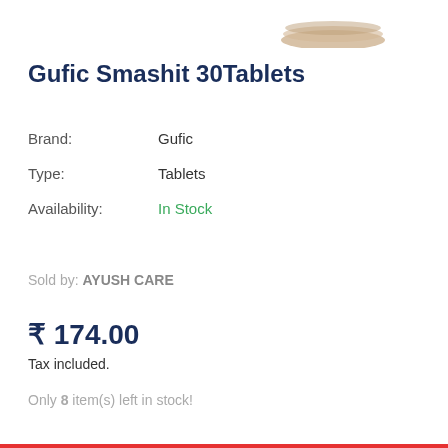[Figure (photo): Partial view of a product pill/tablet blister pack visible at top right corner of the page]
Gufic Smashit 30Tablets
| Attribute | Value |
| --- | --- |
| Brand: | Gufic |
| Type: | Tablets |
| Availability: | In Stock |
Sold by: AYUSH CARE
₹ 174.00
Tax included.
Only 8 item(s) left in stock!